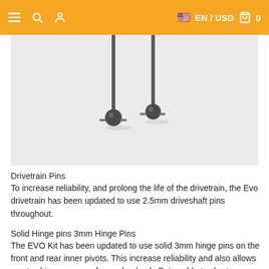≡  🔍  👤    🇺🇸 EN / USD  🛍  0
[Figure (photo): Two metal drivetrain pins with ball ends and small cross-pins, photographed on a white surface]
2.5mm
Drivetrain Pins
To increase reliability, and prolong the life of the drivetrain, the Evo drivetrain has been updated to use 2.5mm driveshaft pins throughout.
Solid Hinge pins 3mm Hinge Pins
The EVO Kit has been updated to use solid 3mm hinge pins on the front and rear inner pivots. This increase reliability and also allows you to shim your arms forward or back. Being able to shorten or length the car will allow you to further fine tune your